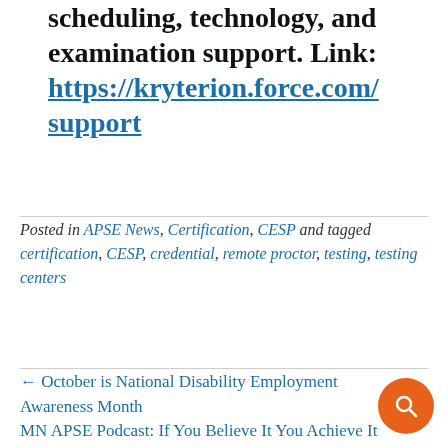scheduling, technology, and examination support. Link: https://kryterion.force.com/support
Posted in APSE News, Certification, CESP and tagged certification, CESP, credential, remote proctor, testing, testing centers
← October is National Disability Employment Awareness Month
MN APSE Podcast: If You Believe It You Achieve It →